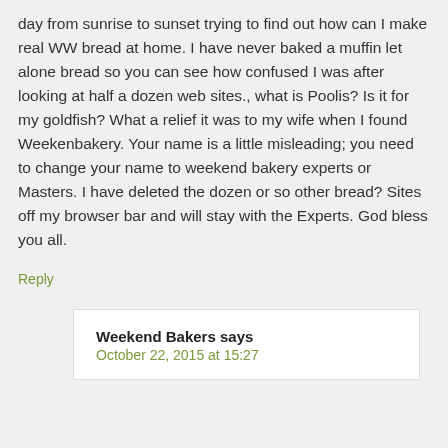day from sunrise to sunset trying to find out how can I make real WW bread at home. I have never baked a muffin let alone bread so you can see how confused I was after looking at half a dozen web sites., what is Poolis? Is it for my goldfish? What a relief it was to my wife when I found Weekenbakery. Your name is a little misleading; you need to change your name to weekend bakery experts or Masters. I have deleted the dozen or so other bread? Sites off my browser bar and will stay with the Experts. God bless you all.
Reply
Weekend Bakers says
October 22, 2015 at 15:27